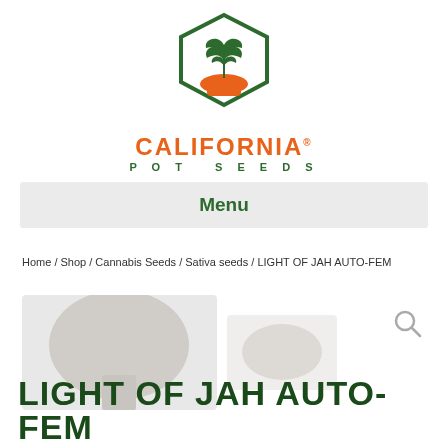[Figure (logo): California Pot Seeds logo: hexagon outline in green with orange cannabis leaf and orange pot icon, with brand name CALIFORNIA in orange and POT SEEDS in green]
Menu
Home / Shop / Cannabis Seeds / Sativa seeds / LIGHT OF JAH AUTO-FEM
[Figure (photo): Cannabis plant bud photo and seed photo side by side]
LIGHT OF JAH AUTO-FEM